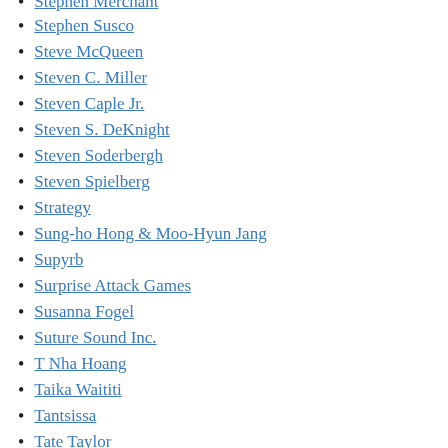Stephen Merchant
Stephen Susco
Steve McQueen
Steven C. Miller
Steven Caple Jr.
Steven S. DeKnight
Steven Soderbergh
Steven Spielberg
Strategy
Sung-ho Hong & Moo-Hyun Jang
Supyrb
Surprise Attack Games
Susanna Fogel
Suture Sound Inc.
T Nha Hoang
Taika Waititi
Tantsissa
Tate Taylor
Taylor Sheridan
Tom 17 Software & …